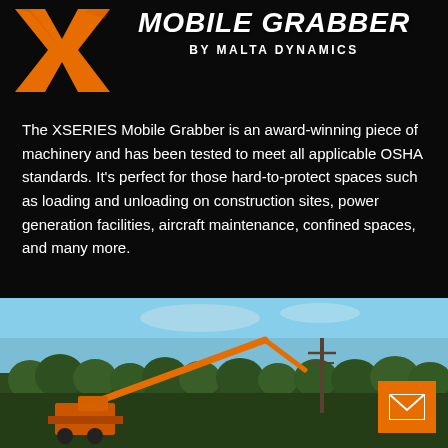[Figure (logo): XSERIES X logo in orange with brush stroke effect]
MOBILE GRABBER BY MALTA DYNAMICS
The XSERIES Mobile Grabber is an award-winning piece of machinery and has been tested to meet all applicable OSHA standards. It’s perfect for those hard-to-protect spaces such as loading and unloading on construction sites, power generation facilities, aircraft maintenance, confined spaces, and many more.
LEARN MORE ↗
[Figure (photo): Outdoor photo showing an orange mobile grabber crane arm extended over a field with trees and utility poles in the background under a blue sky]